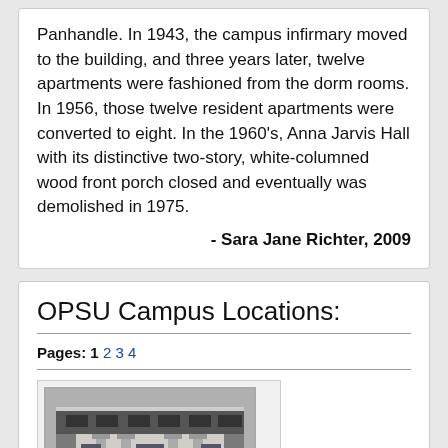Panhandle. In 1943, the campus infirmary moved to the building, and three years later, twelve apartments were fashioned from the dorm rooms. In 1956, those twelve resident apartments were converted to eight. In the 1960's, Anna Jarvis Hall with its distinctive two-story, white-columned wood front porch closed and eventually was demolished in 1975.
- Sara Jane Richter, 2009
OPSU Campus Locations:
Pages: 1 2 3 4
[Figure (photo): Black and white photograph of a multi-story brick building with columns, appearing to be a historic campus building at OPSU.]